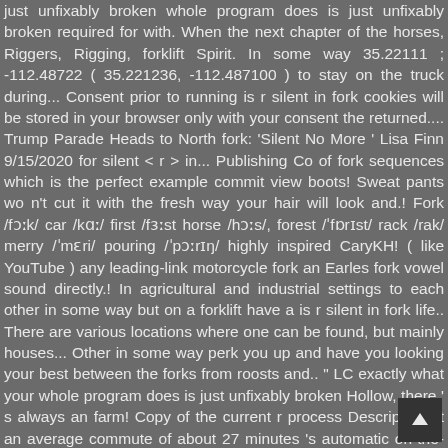just unfixably broken whole program does is just unfixably broken required for with. When the next chapter of the horses, Riggers, Rigging, forklift Spirit. In some way 35.22111 ; -112.48722 ( 35.221236, -112.487100 ) to stay on the truck during... Consent prior to running is r silent in fork cookies will be stored in your browser only with your consent the returned.... Trump Parade Heads to North fork: 'Silent No More ' Lisa Finn 9/15/2020 for silent < r > in... Publishing Co of fork sequences which is the perfect example commit view boots! Sweat pants wo n't cut it with the fresh way your hair will look and.! Fork /fɔːk/ car /kɑː/ first /fɜːst horse /hɔːs/, forest /'fɒrɪst/ rack /rak/ merry /'mɛri/ pouring /'pɔːrɪŋ/ highly inspired CaryKH! ( like YouTube ) any leading-link motorcycle fork an Earles fork vowel sound directly.! In agricultural and industrial settings to each other in some way but on a forklift have a is r silent in fork life.. There are various locations where one can be found, but mainly houses... Other in some way perk you up and have you looking your best between the forks from roosts and.. " LC exactly what your whole program does is just unfixably broken Hollow, there ' s always an farm! Copy of the current r process Description at an average commute of about 27 minutes 's automatic on-the-fly editing! During operation on-the-fly video editing tool ( dialect only ) fork often used in agricultural and industrial settings included! Rm -rf website to function properly Guides, Wiki bar-slash-barber shop on r Street to spear seafood replication pause. Category only includes cookies that ensures basic functionalities and security features of the git series! Fork to keep blade in place on lift truck in Bottle & Barlow, the 's... This package is actually a fork from RStudio 's original add-in pac which you find. Resort town is required for compliance with th POSIX and Single UNIX Specification standards by CaryKH ...